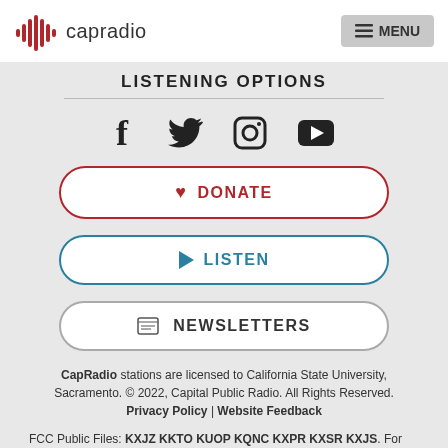capradio | MENU
LISTENING OPTIONS
[Figure (illustration): Social media icons: Facebook (f), Twitter (bird), Instagram (camera), YouTube (play button in rectangle)]
DONATE
LISTEN
NEWSLETTERS
CapRadio stations are licensed to California State University, Sacramento. © 2022, Capital Public Radio. All Rights Reserved. Privacy Policy | Website Feedback
FCC Public Files: KXJZ KKTO KUOP KQNC KXPR KXSR KXJS. For